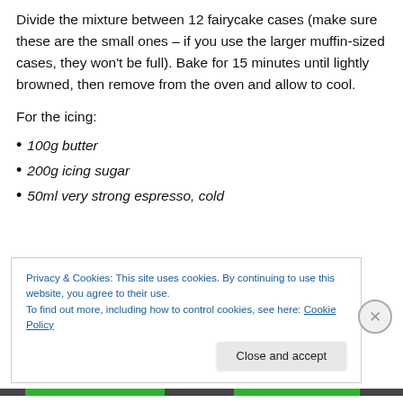Divide the mixture between 12 fairycake cases (make sure these are the small ones – if you use the larger muffin-sized cases, they won't be full). Bake for 15 minutes until lightly browned, then remove from the oven and allow to cool.
For the icing:
100g butter
200g icing sugar
50ml very strong espresso, cold
Privacy & Cookies: This site uses cookies. By continuing to use this website, you agree to their use.
To find out more, including how to control cookies, see here: Cookie Policy
Close and accept